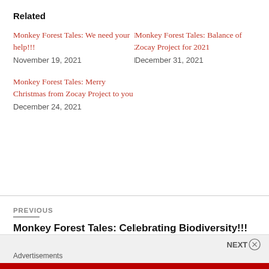Related
Monkey Forest Tales: We need your help!!!
November 19, 2021
Monkey Forest Tales: Balance of Zocay Project for 2021
December 31, 2021
Monkey Forest Tales:  Merry Christmas from Zocay Project to you
December 24, 2021
PREVIOUS
Monkey Forest Tales: Celebrating Biodiversity!!!
NEXT
Advertisements